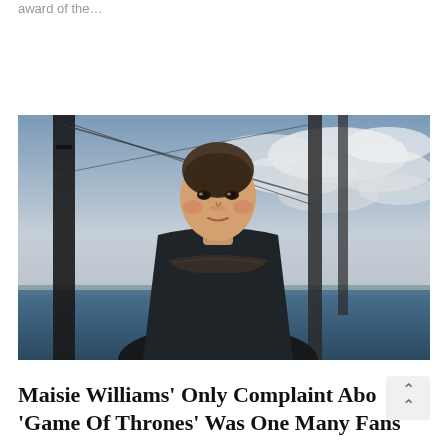award of the…
[Figure (photo): Young woman with hair pulled back wearing dark armor-like costume, standing on what appears to be a ship deck with masts and rigging visible behind her, cloudy sky and water in background. Scene from Game of Thrones featuring Maisie Williams as Arya Stark.]
Maisie Williams' Only Complaint Abo… 'Game Of Thrones' Was One Many Fans